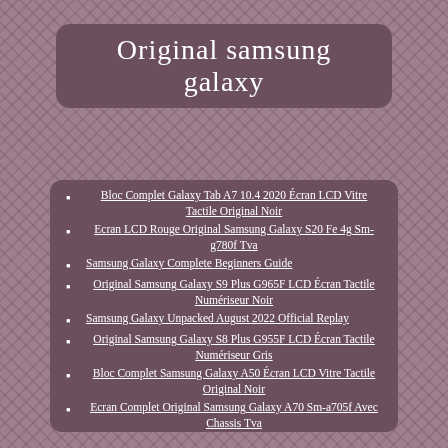Original samsung galaxy
Bloc Complet Galaxy Tab A7 10.4 2020 Écran LCD Vitre Tactile Original Noir
Ecran LCD Rouge Original Samsung Galaxy S20 Fe 4g Sm-g780f Tva
Samsung Galaxy Complete Beginners Guide
Original Samsung Galaxy S9 Plus G965F LCD Écran Tactile Numériseur Noir
Samsung Galaxy Unpacked August 2022 Official Replay
Original Samsung Galaxy S8 Plus G955F LCD Écran Tactile Numériseur Gris
Bloc Complet Samsung Galaxy A50 Écran LCD Vitre Tactile Original Noir
Ecran Complet Original Samsung Galaxy A70 Sm-a705f Avec Chassis Tva
Bloc Complet Samsung Galaxy S21 Écran LCD Vitre Tactile Original Samsung rose
Bloc Complet Galaxy S22 Ultra Écran LCD Vitre Tactile Original Samsung blanc
ECRAN LCD VITRE TACTILE CHASSIS ORIGINAL SAMSUNG GALAXY SM-A908B A90